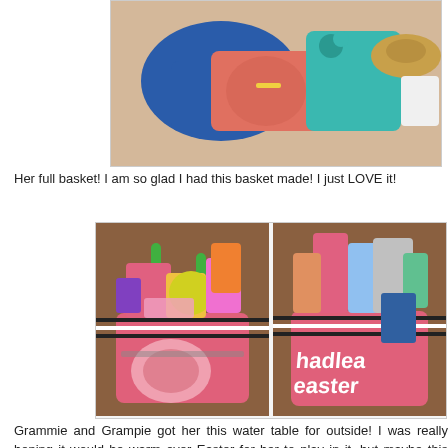[Figure (photo): Photo of children's clothing laid out on a surface, including a blue shirt, pink top, turquoise dress, and a straw hat.]
Her full basket! I am so glad I had this basket made! I just LOVE it!
[Figure (photo): Two photos side by side of a pink personalized Easter bucket filled with toys, candy, and gifts. The bucket is labeled 'hadlea Easter' with a black and white striped bow.]
Grammie and Grampie got her this water table for outside! I was really hoping it would be warm over Easter for her to play in it, but maybe this weekend! She loves to play in